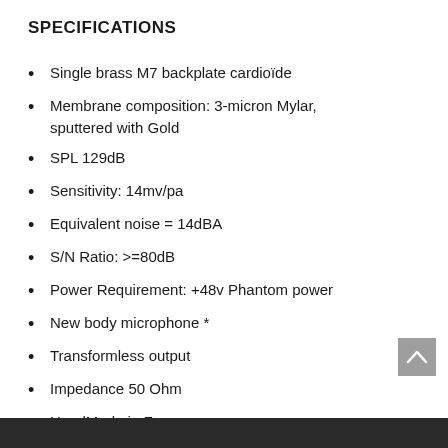SPECIFICATIONS
Single brass M7 backplate cardioïde
Membrane composition: 3-micron Mylar, sputtered with Gold
SPL 129dB
Sensitivity: 14mv/pa
Equivalent noise = 14dBA
S/N Ratio: >=80dB
Power Requirement: +48v Phantom power
New body microphone *
Transformless output
Impedance 50 Ohm
HandMade in France